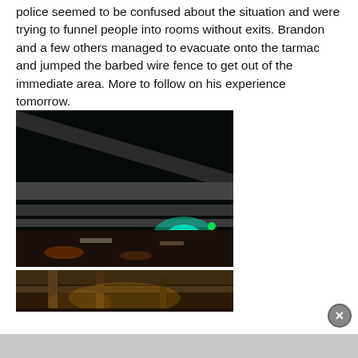police seemed to be confused about the situation and were trying to funnel people into rooms without exits. Brandon and a few others managed to evacuate onto the tarmac and jumped the barbed wire fence to get out of the immediate area. More to follow on his experience tomorrow.
[Figure (photo): Nighttime photo looking up at airport overpass structure with teal/green lights visible below and road traffic in background]
[Figure (photo): Partial nighttime photo showing airport structure with warm yellowish lighting]